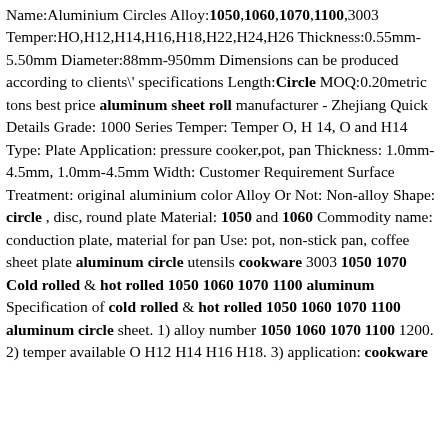Name:Aluminium Circles Alloy:1050,1060,1070,1100,3003 Temper:HO,H12,H14,H16,H18,H22,H24,H26 Thickness:0.55mm-5.50mm Diameter:88mm-950mm Dimensions can be produced according to clients\' specifications Length:Circle MOQ:0.20metric tons best price aluminum sheet roll manufacturer - Zhejiang Quick Details Grade: 1000 Series Temper: Temper O, H 14, O and H14 Type: Plate Application: pressure cooker,pot, pan Thickness: 1.0mm-4.5mm, 1.0mm-4.5mm Width: Customer Requirement Surface Treatment: original aluminium color Alloy Or Not: Non-alloy Shape: circle , disc, round plate Material: 1050 and 1060 Commodity name: conduction plate, material for pan Use: pot, non-stick pan, coffee sheet plate aluminum circle utensils cookware 3003 1050 1070 Cold rolled & hot rolled 1050 1060 1070 1100 aluminum Specification of cold rolled & hot rolled 1050 1060 1070 1100 aluminum circle sheet. 1) alloy number 1050 1060 1070 1100 1200. 2) temper available O H12 H14 H16 H18. 3) application: cookware